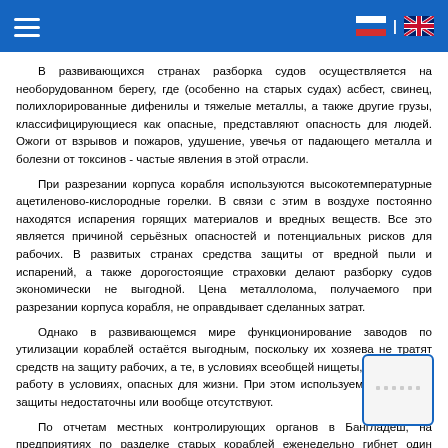Navigation header with hamburger menu and language flags (RU | EN)
В развивающихся странах разборка судов осуществляется на необорудованном берегу, где (особенно на старых судах) асбест, свинец, полихлорированные дифенилы и тяжелые металлы, а также другие грузы, классифицирующиеся как опасные, представляют опасность для людей. Ожоги от взрывов и пожаров, удушение, увечья от падающего металла и болезни от токсинов - частые явления в этой отрасли.
При разрезании корпуса корабля используются высокотемпературные ацетиленово-кислородные горелки. В связи с этим в воздухе постоянно находятся испарения горящих материалов и вредных веществ. Все это является причиной серьёзных опасностей и потенциальных рисков для рабочих. В развитых странах средства защиты от вредной пыли и испарений, а также дорогостоящие страховки делают разборку судов экономически не выгодной. Цена металлолома, получаемого при разрезании корпуса корабля, не оправдывает сделанных затрат.
Однако в развивающемся мире функционирование заводов по утилизации кораблей остаётся выгодным, поскольку их хозяева не тратят средств на защиту рабочих, а те, в условиях всеобщей нищеты, согласны на работу в условиях, опасных для жизни. При этом используемые средства защиты недостаточны или вообще отсутствуют.
По отчетам местных контролирующих органов в Бангладеш, на предприятиях по разделке старых кораблей еженедельно гибнет один рабочий, и в среднем один рабочий получает тяжёлую травму ежедневно.